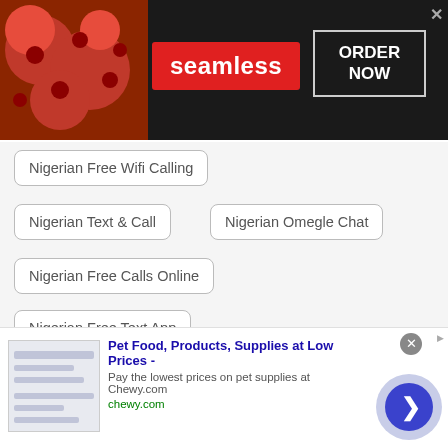[Figure (screenshot): Seamless food delivery advertisement banner with pizza image, Seamless logo in red, and ORDER NOW button]
Nigerian Free Wifi Calling
Nigerian Text & Call
Nigerian Omegle Chat
Nigerian Free Calls Online
Nigerian Free Text App
Nigerian Phone Chat Lines
Nigerian Flirt for Free
Nigerian Omegle Talk to Strangers
[Figure (screenshot): Chewy.com advertisement: Pet Food, Products, Supplies at Low Prices - Pay the lowest prices on pet supplies at Chewy.com, with navigation arrow button]